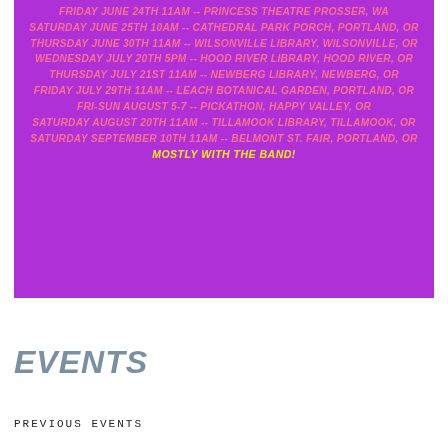[Figure (infographic): Purple background event listing with pink uppercase italic bold text listing concert/event dates and locations, ending with 'MOSTLY WITH THE BAND!' in yellow bold italic uppercase text.]
EVENTS
PREVIOUS EVENTS